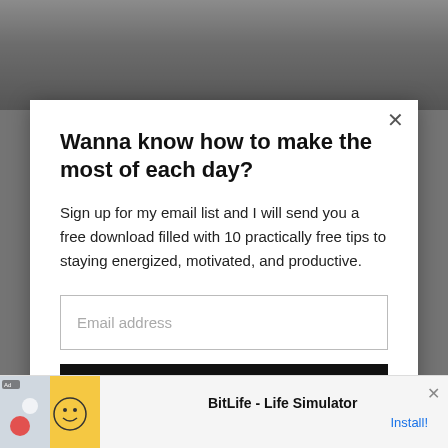[Figure (photo): Background photo of a cat or animal, partially visible, dark tones]
Wanna know how to make the most of each day?
Sign up for my email list and I will send you a free download filled with 10 practically free tips to staying energized, motivated, and productive.
Email address
Subscribe
[Figure (screenshot): Ad banner for BitLife - Life Simulator showing game graphics and Install! link]